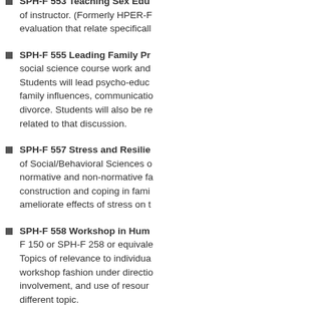SPH-F 553 Teaching Sex Edu... of instructor. (Formerly HPER-F evaluation that relate specificall...
SPH-F 555 Leading Family Pr... social science course work and Students will lead psycho-educ... family influences, communicati... divorce. Students will also be r... related to that discussion.
SPH-F 557 Stress and Resilie... of Social/Behavioral Sciences ... normative and non-normative f... construction and coping in fami... ameliorate effects of stress on...
SPH-F 558 Workshop in Hum... F 150 or SPH-F 258 or equival... Topics of relevance to individua... workshop fashion under directi... involvement, and use of resour... different topic.
SPH-F 559 Special Problems... P: Permission of department. (...